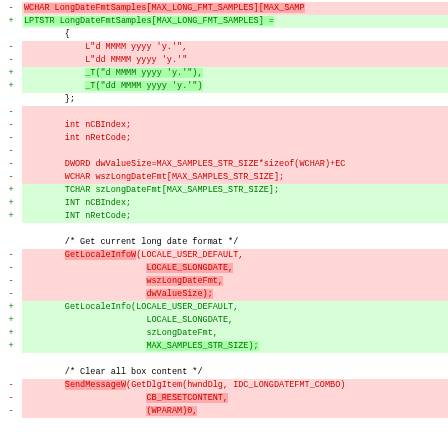[Figure (screenshot): Code diff showing changes to a C/C++ source file. Removed lines (red background, - prefix) and added lines (green background, + prefix) showing conversion from Unicode (WCHAR/GetLocaleInfoW) to TCHAR/GetLocaleInfo style, including changes to LongDateFmtSamples array declaration, variable declarations, and function calls for GetLocaleInfoW/GetLocaleInfo and SendMessageW/SendMessage.]